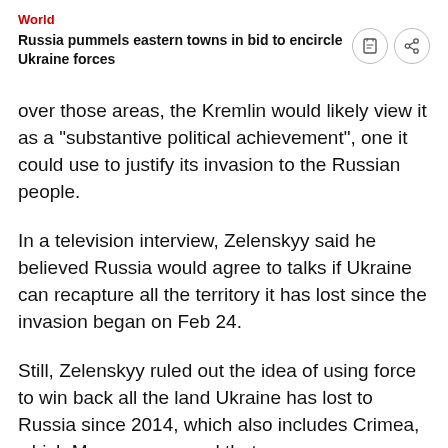World
Russia pummels eastern towns in bid to encircle Ukraine forces
over those areas, the Kremlin would likely view it as a "substantive political achievement", one it could use to justify its invasion to the Russian people.
In a television interview, Zelenskyy said he believed Russia would agree to talks if Ukraine can recapture all the territory it has lost since the invasion began on Feb 24.
Still, Zelenskyy ruled out the idea of using force to win back all the land Ukraine has lost to Russia since 2014, which also includes Crimea, which Moscow annexed that year.
"I do not believe that we can restore all of our